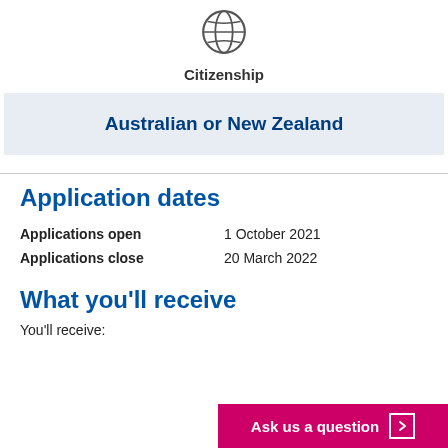[Figure (illustration): Globe/earth icon outline drawing]
Citizenship
Australian or New Zealand
Application dates
| Applications open | 1 October 2021 |
| Applications close | 20 March 2022 |
What you'll receive
You'll receive:
Ask us a question